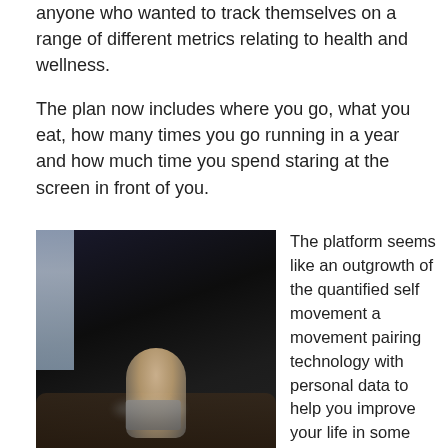anyone who wanted to track themselves on a range of different metrics relating to health and wellness.
The plan now includes where you go, what you eat, how many times you go running in a year and how much time you spend staring at the screen in front of you.
[Figure (photo): Dark moody photo of a person sitting on a couch using a laptop computer, lit by the laptop screen, with a window visible to the left.]
The platform seems like an outgrowth of the quantified self movement a movement pairing technology with personal data to help you improve your life in some mental or physical way. But Sharma shrugs off the suggestion.
I don't like to place myself